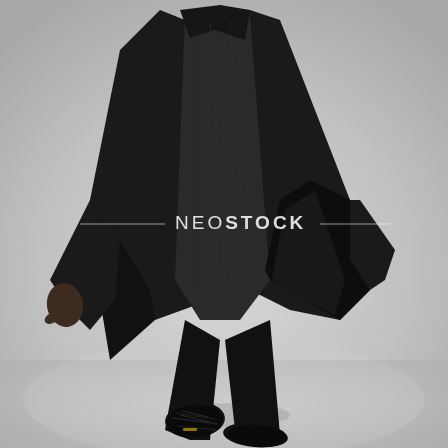[Figure (photo): A person wearing all black clothing including a long black coat/trench coat, black pants, and black sneakers, photographed from behind while running or walking dynamically. The coat is billowing open showing its lining. The background is a neutral light gray studio backdrop. A NeoStock watermark is overlaid in the center of the image.]